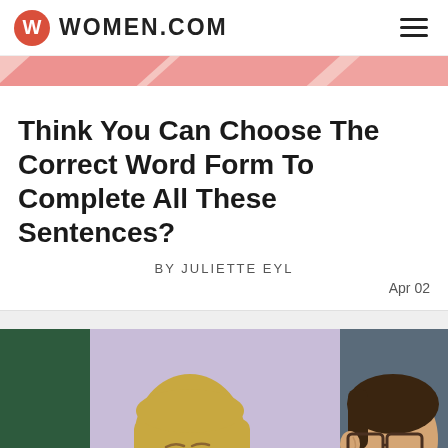WOMEN.COM
Think You Can Choose The Correct Word Form To Complete All These Sentences?
BY JULIETTE EYL
Apr 02
[Figure (photo): A blonde teenage girl with bangs looking sideways at a boy wearing glasses, in a school setting. Still from a TV show.]